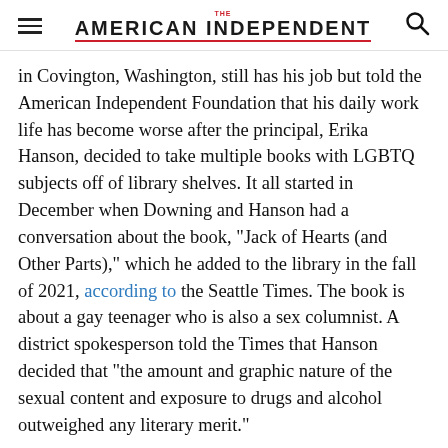THE AMERICAN INDEPENDENT
in Covington, Washington, still has his job but told the American Independent Foundation that his daily work life has become worse after the principal, Erika Hanson, decided to take multiple books with LGBTQ subjects off of library shelves. It all started in December when Downing and Hanson had a conversation about the book, "Jack of Hearts (and Other Parts)," which he added to the library in the fall of 2021, according to the Seattle Times. The book is about a gay teenager who is also a sex columnist. A district spokesperson told the Times that Hanson decided that "the amount and graphic nature of the sexual content and exposure to drugs and alcohol outweighed any literary merit."
In December, she also asked Downing for a list of books with sexually explicit material in the most popular...